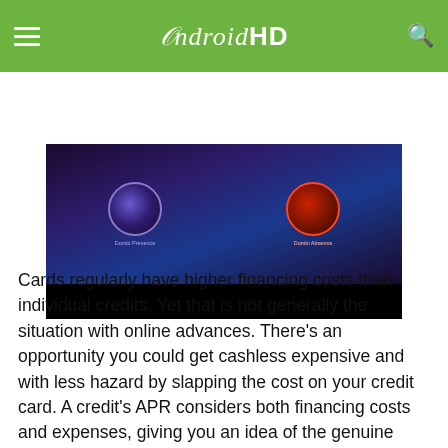AndroidHD
[Figure (screenshot): Screenshot of a dark fantasy/gaming interface showing two orb-like icons side by side with purple and red coloring, labeled with text beneath each, on a dark purple and black background.]
Cards regularly have higher financing costs than individual credits. Yet that is not generally the situation with online advances. There's an opportunity you could get cashless expensive and with less hazard by slapping the cost on your credit card. A credit's APR considers both financing costs and expenses, giving you an idea of the genuine expense of the advance. Installment advances are an approach to get cash rapidly for crisis costs or to cross over any barrier https://cashnetusa.biz/ between checks. To select the best help is important to peruse all banks. The loan fees, capabilities, and prerequisites do fluctuate here and there. Your payment ability right now is much more important rather than your credit So lenders focus on your income to be sure that you are capable of repayment. COMPACOM.COM is an independent